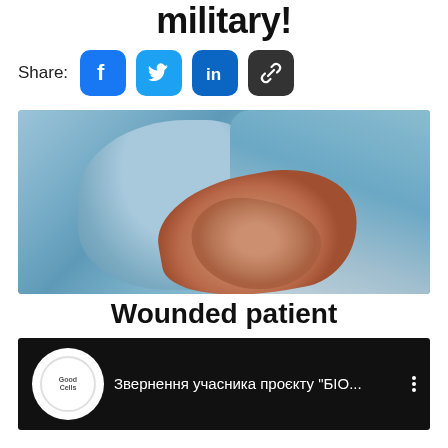military!
Share:
[Figure (photo): Medical/surgical photo showing a surgeon in blue gown and gloves handling a wounded patient's hand or limb]
Wounded patient
[Figure (screenshot): Video thumbnail with circular logo reading 'Good Cells' and Ukrainian text: Звернення учасника проєкту "БІО..." with three-dot menu icon on black background]